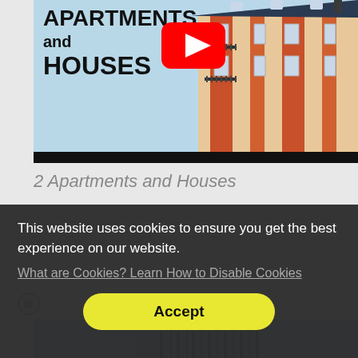[Figure (screenshot): YouTube video thumbnail showing a Parisian-style orange and cream apartment building with black wrought-iron balconies. Overlaid text reads 'APARTMENTS and HOUSES' with a YouTube play button icon.]
2 Apartments and Houses
This website uses cookies to ensure you get the best experience on our website.
What are Cookies? Learn How to Disable Cookies
Accept